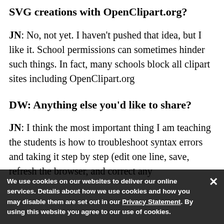SVG creations with OpenClipart.org?
JN: No, not yet. I haven't pushed that idea, but I like it. School permissions can sometimes hinder such things. In fact, many schools block all clipart sites including OpenClipart.org
DW: Anything else you'd like to share?
JN: I think the most important thing I am teaching the students is how to troubleshoot syntax errors and taking it step by step (edit one line, save, refresh the browser, and correct any
We use cookies on our websites to deliver our online services. Details about how we use cookies and how you may disable them are set out in our Privacy Statement. By using this website you agree to our use of cookies.